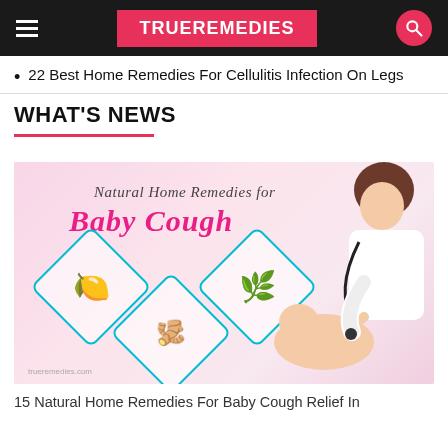TRUEREMEDIES
22 Best Home Remedies For Cellulitis Infection On Legs
WHAT'S NEWS
[Figure (illustration): Promotional image for 'Natural Home Remedies for Baby Cough' showing a doctor examining a baby with a stethoscope, and diamond-framed icons of lemons, herbs/thyme, and ginger root on a pink background.]
15 Natural Home Remedies For Baby Cough Relief In